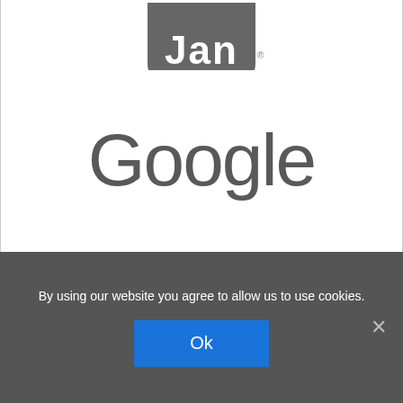[Figure (logo): Partial logo cut off at top of page (only bottom portion visible, appears to be a dark rounded square logo)]
[Figure (logo): Google logo in gray/dark color, large sans-serif text]
[Figure (logo): M3 Global Research logo with stylized waveform icon and text 'M3 GLOBAL RESEARCH' in spaced serif letters]
By using our website you agree to allow us to use cookies.
Ok